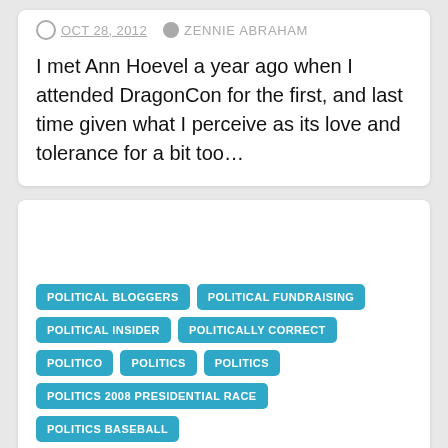OCT 28, 2012   ZENNIE ABRAHAM
I met Ann Hoevel a year ago when I attended DragonCon for the first, and last time given what I perceive as its love and tolerance for a bit too…
POLITICAL BLOGGERS
POLITICAL FUNDRAISING
POLITICAL INSIDER
POLITICALLY CORRECT
POLITICO
POLITICS
POLITICS
POLITICS 2008 PRESIDENTIAL RACE
POLITICS BASEBALL
Hillary Clinton Said House Republican Cuts Harm National